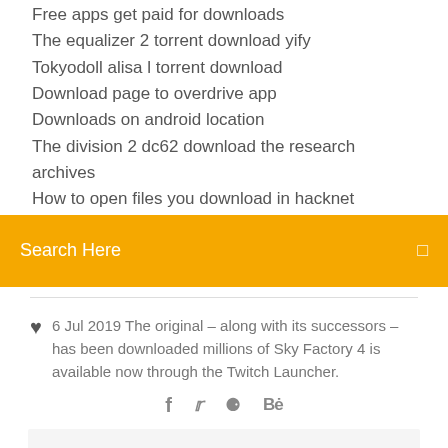Free apps get paid for downloads
The equalizer 2 torrent download yify
Tokyodoll alisa l torrent download
Download page to overdrive app
Downloads on android location
The division 2 dc62 download the research archives
How to open files you download in hacknet
Search Here
6 Jul 2019 The original – along with its successors – has been downloaded millions of Sky Factory 4 is available now through the Twitch Launcher.
Those launchers include tekkit launcher, FTB